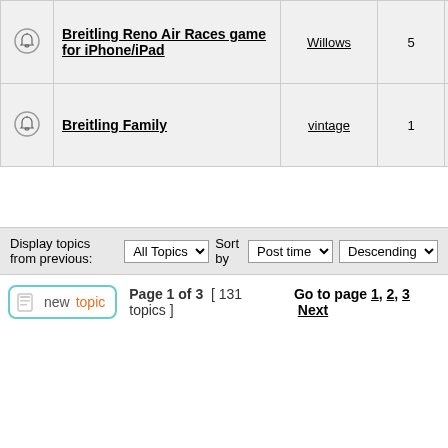|  | Topic | Author | Replies | Views | Last post |
| --- | --- | --- | --- | --- | --- |
| [bell] | Breitling Reno Air Races game for iPhone/iPad | Willows | 5 | 14290 | Mon Oct 08, 2
alton0... |
| [bell] | Breitling Family | vintage | 1 | 9597 | Sun Sep 16, 2
F14D_Tor... |
Display topics from previous: All Topics Sort by Post time Descending
Page 1 of 3 [ 131 topics ] Go to page 1, 2, 3 Next